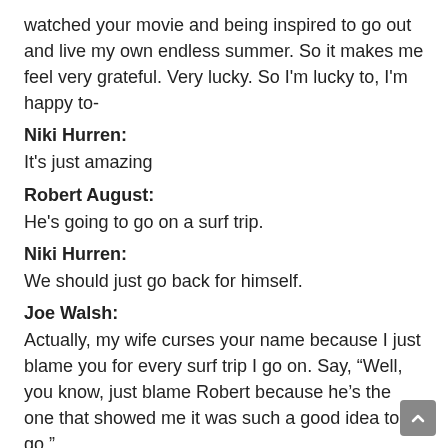watched your movie and being inspired to go out and live my own endless summer. So it makes me feel very grateful. Very lucky. So I'm lucky to, I'm happy to-
Niki Hurren:
It's just amazing
Robert August:
He's going to go on a surf trip.
Niki Hurren:
We should just go back for himself.
Joe Walsh:
Actually, my wife curses your name because I just blame you for every surf trip I go on. Say, “Well, you know, just blame Robert because he's the one that showed me it was such a good idea to go.”
Robert August:
OKay. I've got an idea for your surf trip. Thinking back to The Endless Summer, we talked about India, the problem we had there with the surfboards and everything. I'm sure, you